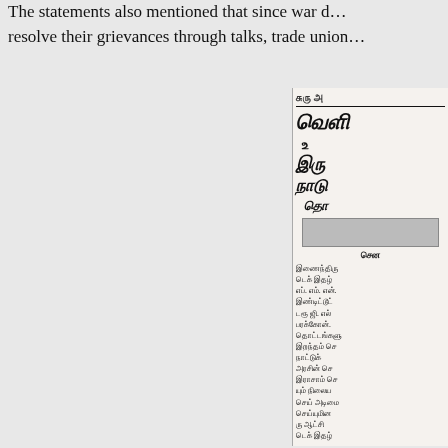The statements also mentioned that since war d... resolve their grievances through talks, trade union...
[Figure (photo): Partial view of a Tamil-language newspaper page showing headlines and body text in Tamil script, with a photograph embedded in the layout.]